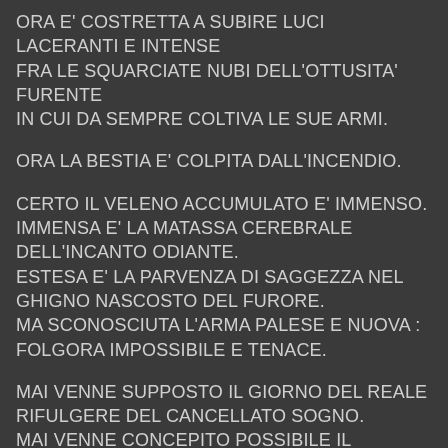ORA E' COSTRETTA A SUBIRE LUCI LACERANTI E INTENSE
FRA LE SQUARCIATE NUBI DELL'OTTUSITA' FURENTE
IN CUI DA SEMPRE COLTIVA LE SUE ARMI.
ORA LA BESTIA E' COLPITA DALL'INCENDIO.
CERTO IL VELENO ACCUMULATO E' IMMENSO.
IMMENSA E' LA MATASSA CEREBRALE DELL'INCANTO ODIANTE.
ESTESA E' LA PARVENZA DI SAGGEZZA NEL GHIGNO NASCOSTO DEL FURORE.
MA SCONOSCIUTA L'ARMA PALESE E NUOVA :
FOLGORA IMPOSSIBILE E TENACE.
MAI VENNE SUPPOSTO IL GIORNO DEL REALE RIFULGERE DEL CANCELLATO SOGNO.
MAI VENNE CONCEPITO POSSIBILE IL RISORGERE DI UN TANTO ODIATO SOLE.
MAI VENNE IPOTIZZATO REALE IL SOVRUMANO CHE INCENERISSE L'INGANNO SOLTANTO RAZIONALE.
EPPURE E' COSI' E NELLA TEMPESTA –INVISIBILE- IL SOGNO APPARE.